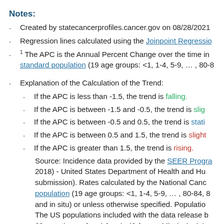Notes:
Created by statecancerprofiles.cancer.gov on 08/28/2021
Regression lines calculated using the Joinpoint Regression
1 The APC is the Annual Percent Change over the time in standard population (19 age groups: <1, 1-4, 5-9, ... , 80-8
Explanation of the Calculation of the Trend:
If the APC is less than -1.5, the trend is falling.
If the APC is between -1.5 and -0.5, the trend is slightly falling.
If the APC is between -0.5 and 0.5, the trend is stable.
If the APC is between 0.5 and 1.5, the trend is slightly rising.
If the APC is greater than 1.5, the trend is rising.
Source: Incidence data provided by the SEER Program (2018) - United States Department of Health and Human submission). Rates calculated by the National Cancer population (19 age groups: <1, 1-4, 5-9, ... , 80-84, 85 and in situ) or unless otherwise specified. Population The US populations included with the data release based on 62 counties and parishes in Alabama, Mississippi, Louisiana. November 2020 data. Rates and trends in this graph